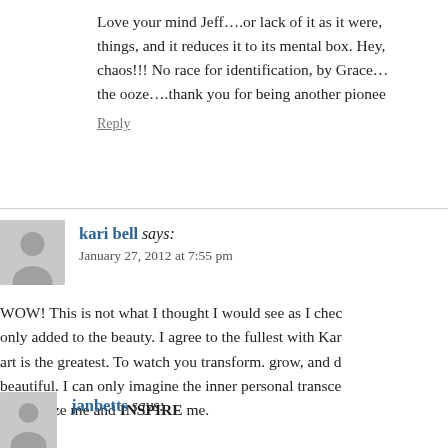Love your mind Jeff….or lack of it as it were, things, and it reduces it to its mental box. Hey, chaos!!! No race for identification, by Grace… the ooze….thank you for being another pionee
Reply
kari bell says: January 27, 2012 at 7:55 pm
WOW! This is not what I thought I would see as I chec only added to the beauty. I agree to the fullest with Kar art is the greatest. To watch you transform. grow, and d beautiful. I can only imagine the inner personal transce you amaze me and INSPIRE me.
Reply
janbetts says: